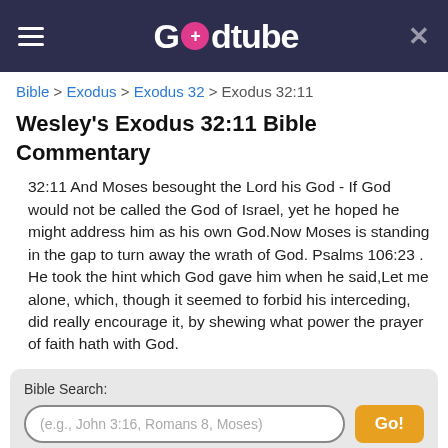Godtube
Bible > Exodus > Exodus 32 > Exodus 32:11
Wesley's Exodus 32:11 Bible Commentary
32:11 And Moses besought the Lord his God - If God would not be called the God of Israel, yet he hoped he might address him as his own God.Now Moses is standing in the gap to turn away the wrath of God. Psalms 106:23 . He took the hint which God gave him when he said,Let me alone, which, though it seemed to forbid his interceding, did really encourage it, by shewing what power the prayer of faith hath with God.
Bible Search:
(e.g., John 3:16, Romans 8, Moses)
Go!
Powered by Bible Study Tools